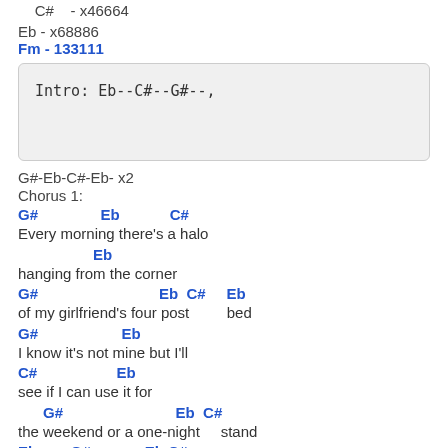C#    - x46664
Eb - x68886
Fm  -  133111
Intro: Eb--C#--G#--,
G#-Eb-C#-Eb- x2
Chorus 1:
G#               Eb            C#
Every morning there's a halo
Eb
hanging from the corner
G#                             Eb  C#     Eb
of my girlfriend's four post       bed
G#                    Eb
I know it's not mine but I'll
C#                   Eb
see if I can use it for
G#                           Eb  C#
the weekend or a one-night     stand
Eb        G#             Eb C#
Couldn't understand